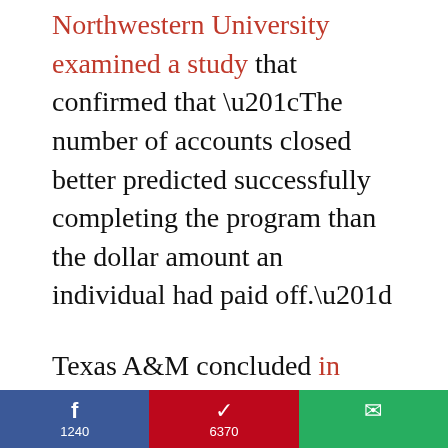Northwestern University examined a study that confirmed that “The number of accounts closed better predicted successfully completing the program than the dollar amount an individual had paid off.”
Texas A&M concluded in their study here (see page 19) that “The experiment indicates subject performance is best when tasks are grouped from smallest to largest.”
f 1240   ❤ 6370   ✉